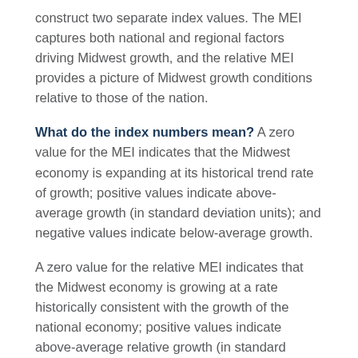construct two separate index values. The MEI captures both national and regional factors driving Midwest growth, and the relative MEI provides a picture of Midwest growth conditions relative to those of the nation.
What do the index numbers mean? A zero value for the MEI indicates that the Midwest economy is expanding at its historical trend rate of growth; positive values indicate above-average growth (in standard deviation units); and negative values indicate below-average growth.
A zero value for the relative MEI indicates that the Midwest economy is growing at a rate historically consistent with the growth of the national economy; positive values indicate above-average relative growth (in standard deviation units); and negative values indicate below-average relative growth.